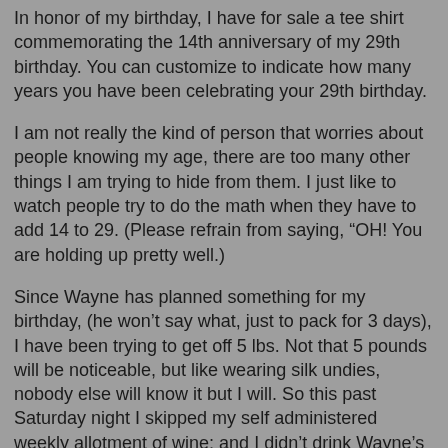In honor of my birthday, I have for sale a tee shirt commemorating the 14th anniversary of my 29th birthday. You can customize to indicate how many years you have been celebrating your 29th birthday.
I am not really the kind of person that worries about people knowing my age, there are too many other things I am trying to hide from them. I just like to watch people try to do the math when they have to add 14 to 29. (Please refrain from saying, “OH! You are holding up pretty well.)
Since Wayne has planned something for my birthday, (he won’t say what, just to pack for 3 days), I have been trying to get off 5 lbs. Not that 5 pounds will be noticeable, but like wearing silk undies, nobody else will know it but I will. So this past Saturday night I skipped my self administered weekly allotment of wine; and I didn’t drink Wayne’s either. For 3 days in a row I have done 30 minutes of cardio exercise, usually I just think about it for 30 minutes, and I have refrained from sweets, save for the greater portion of a largish water melon. Don’t judge me; it’s all water and fiber.